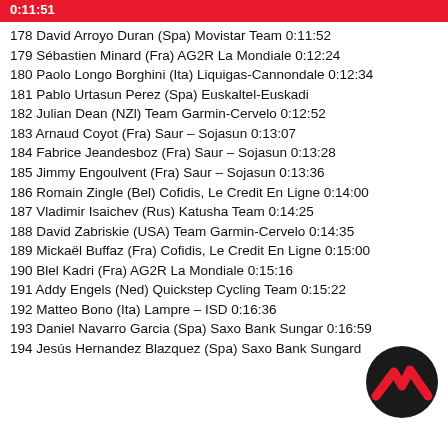0:11:51
178 David Arroyo Duran (Spa) Movistar Team 0:11:52
179 Sébastien Minard (Fra) AG2R La Mondiale 0:12:24
180 Paolo Longo Borghini (Ita) Liquigas-Cannondale 0:12:34
181 Pablo Urtasun Perez (Spa) Euskaltel-Euskadi
182 Julian Dean (NZl) Team Garmin-Cervelo 0:12:52
183 Arnaud Coyot (Fra) Saur – Sojasun 0:13:07
184 Fabrice Jeandesboz (Fra) Saur – Sojasun 0:13:28
185 Jimmy Engoulvent (Fra) Saur – Sojasun 0:13:36
186 Romain Zingle (Bel) Cofidis, Le Credit En Ligne 0:14:00
187 Vladimir Isaichev (Rus) Katusha Team 0:14:25
188 David Zabriskie (USA) Team Garmin-Cervelo 0:14:35
189 Mickaël Buffaz (Fra) Cofidis, Le Credit En Ligne 0:15:00
190 Blel Kadri (Fra) AG2R La Mondiale 0:15:16
191 Addy Engels (Ned) Quickstep Cycling Team 0:15:22
192 Matteo Bono (Ita) Lampre – ISD 0:16:36
193 Daniel Navarro Garcia (Spa) Saxo Bank Sungar 0:16:59
194 Jesús Hernandez Blazquez (Spa) Saxo Bank Sungard
[Figure (logo): Cycling stats website logo — dark circle with red mountain/chevron mark]